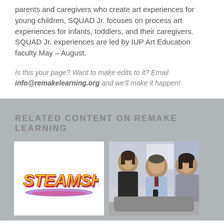parents and caregivers who create art experiences for young children, SQUAD Jr. focuses on process art experiences for infants, toddlers, and their caregivers. SQUAD Jr. experiences are led by IUP Art Education faculty May – August.
Is this your page? Want to make edits to it? Email info@remakelearning.org and we'll make it happen!
RELATED CONTENT ON REMAKE LEARNING
[Figure (logo): STEAMSHOP logo in colorful gradient text (yellow, orange, red, purple)]
[Figure (photo): Photo of three people seated, appearing to look at a phone or device; one man in a light blue shirt and tie, two women]